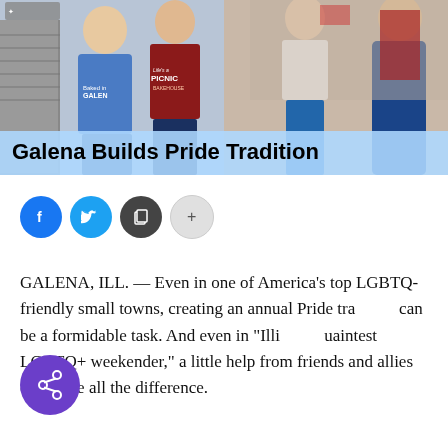[Figure (photo): Hero image collage showing people smiling; left side shows two men, one in a blue 'Baked in Galena' t-shirt and another in a maroon 'Life's a Picnic Bakehouse' shirt; right side shows two women, one in a white top with jeans and another in a blue dress, standing in front of a building with red doors.]
Galena Builds Pride Tradition
[Figure (other): Social sharing buttons row: Facebook (blue circle with f icon), Twitter (blue circle with bird icon), Copy (dark circle with copy icon), More (+) button (light grey circle)]
GALENA, ILL. — Even in one of America's top LGBTQ-friendly small towns, creating an annual Pride tradition can be a formidable task. And even in "Illinois' quaintest LGBTQ+ weekender," a little help from friends and allies can make all the difference.
[Figure (other): Purple floating action button with share/network icon overlay on article text]